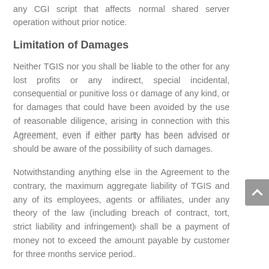any CGI script that affects normal shared server operation without prior notice.
Limitation of Damages
Neither TGIS nor you shall be liable to the other for any lost profits or any indirect, special incidental, consequential or punitive loss or damage of any kind, or for damages that could have been avoided by the use of reasonable diligence, arising in connection with this Agreement, even if either party has been advised or should be aware of the possibility of such damages.
Notwithstanding anything else in the Agreement to the contrary, the maximum aggregate liability of TGIS and any of its employees, agents or affiliates, under any theory of the law (including breach of contract, tort, strict liability and infringement) shall be a payment of money not to exceed the amount payable by customer for three months service period.